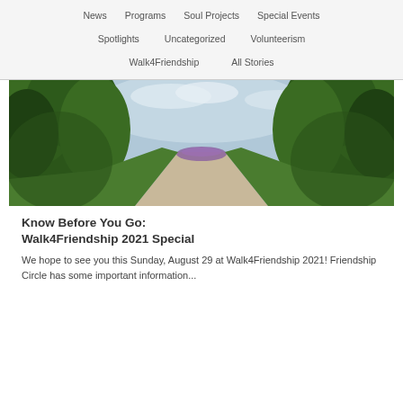News
Programs
Soul Projects
Special Events
Spotlights
Uncategorized
Volunteerism
Walk4Friendship
All Stories
[Figure (photo): Aerial view of a tree-lined path filled with a crowd of people in the distance, under a partly cloudy sky. Lush green trees on both sides.]
Know Before You Go: Walk4Friendship 2021 Special
We hope to see you this Sunday, August 29 at Walk4Friendship 2021! Friendship Circle has some important information...